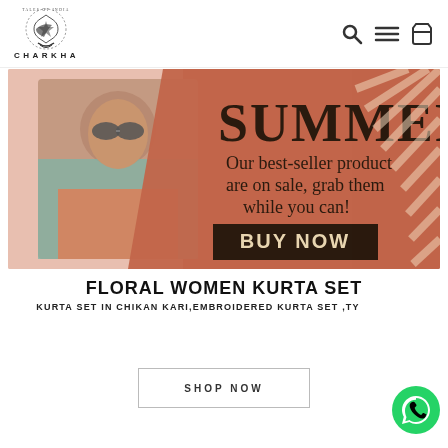[Figure (logo): Charkha Tales of India logo with ornate circular emblem and brand name CHARKHA below]
[Figure (infographic): Summer sale banner with woman wearing sunglasses and teal drape on left, terracotta/salmon background with text SUMMER, Our best-seller product are on sale, grab them while you can!, BUY NOW button, diagonal stripe pattern on right]
FLORAL WOMEN KURTA SET
KURTA SET IN CHIKAN KARI,EMBROIDERED KURTA SET ,TY
[Figure (other): SHOP NOW button with border]
[Figure (other): WhatsApp floating button icon]